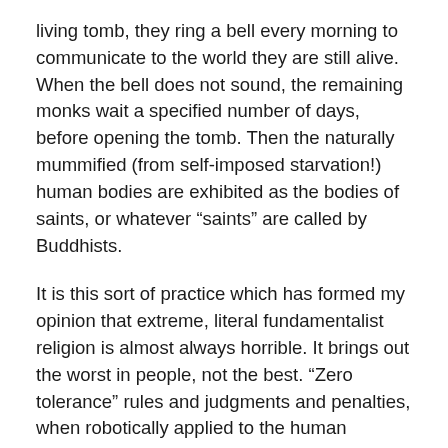living tomb, they ring a bell every morning to communicate to the world they are still alive. When the bell does not sound, the remaining monks wait a specified number of days, before opening the tomb. Then the naturally mummified (from self-imposed starvation!) human bodies are exhibited as the bodies of saints, or whatever “saints” are called by Buddhists.
It is this sort of practice which has formed my opinion that extreme, literal fundamentalist religion is almost always horrible. It brings out the worst in people, not the best. “Zero tolerance” rules and judgments and penalties, when robotically applied to the human condition, create the opposite of love, the opposite of peace, the opposite of compassion. Extreme, literal, fundamentalist religion is, in essence, a form of necrophilia — summarily dictating to